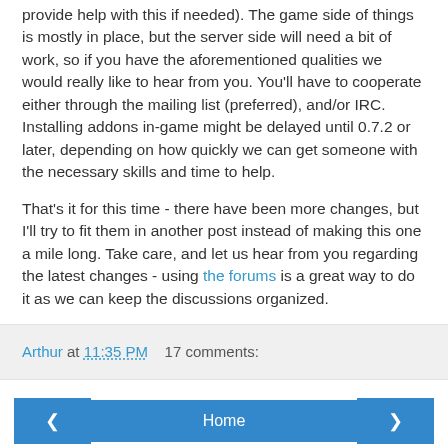provide help with this if needed). The game side of things is mostly in place, but the server side will need a bit of work, so if you have the aforementioned qualities we would really like to hear from you. You'll have to cooperate either through the mailing list (preferred), and/or IRC. Installing addons in-game might be delayed until 0.7.2 or later, depending on how quickly we can get someone with the necessary skills and time to help.
That's it for this time - there have been more changes, but I'll try to fit them in another post instead of making this one a mile long. Take care, and let us hear from you regarding the latest changes - using the forums is a great way to do it as we can keep the discussions organized.
Arthur at 11:35 PM    17 comments:
< Home > View web version